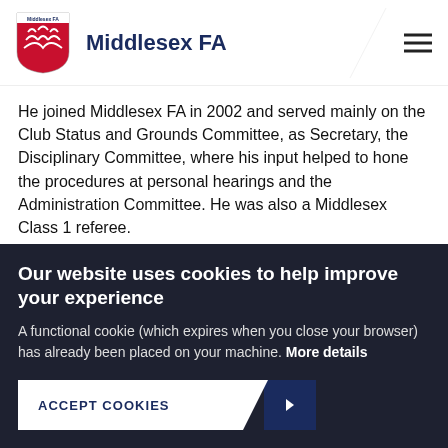Middlesex FA
He joined Middlesex FA in 2002 and served mainly on the Club Status and Grounds Committee, as Secretary, the Disciplinary Committee, where his input helped to hone the procedures at personal hearings and the Administration Committee. He was also a Middlesex Class 1 referee.
Adrian was a very competent administrator and an affable personality. He will be sadly missed. Our sincere
Our website uses cookies to help improve your experience
A functional cookie (which expires when you close your browser) has already been placed on your machine. More details
ACCEPT COOKIES